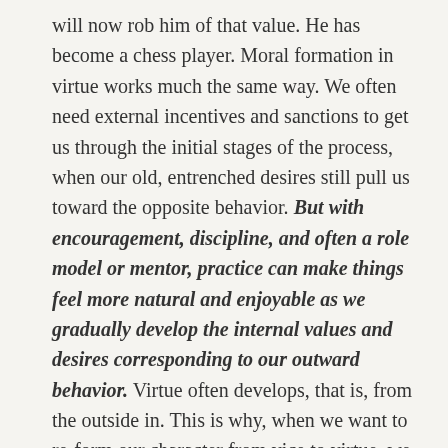will now rob him of that value. He has become a chess player. Moral formation in virtue works much the same way. We often need external incentives and sanctions to get us through the initial stages of the process, when our old, entrenched desires still pull us toward the opposite behavior. But with encouragement, discipline, and often a role model or mentor, practice can make things feel more natural and enjoyable as we gradually develop the internal values and desires corresponding to our outward behavior. Virtue often develops, that is, from the outside in. This is why, when we want to re-form our character from vice to virtue, we often need to practice and persevere in regular spiritual disciplines and formational practices for a lengthy period of time. There is no quick and easy substitute for daily repetition over the long haul. First we have to pull the sled out of the old rut, and then gradually build up a new track.